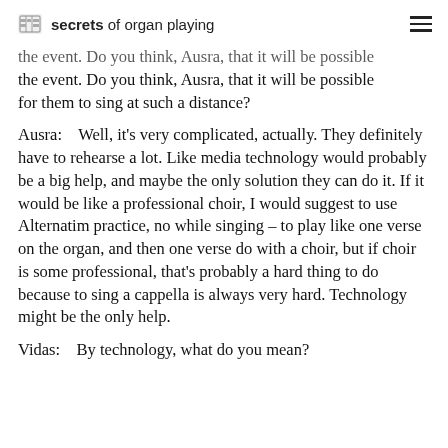secrets of organ playing
the event. Do you think, Ausra, that it will be possible for them to sing at such a distance?
Ausra:    Well, it's very complicated, actually. They definitely have to rehearse a lot. Like media technology would probably be a big help, and maybe the only solution they can do it. If it would be like a professional choir, I would suggest to use Alternatim practice, no while singing – to play like one verse on the organ, and then one verse do with a choir, but if choir is some professional, that's probably a hard thing to do because to sing a cappella is always very hard. Technology might be the only help.
Vidas:    By technology, what do you mean?